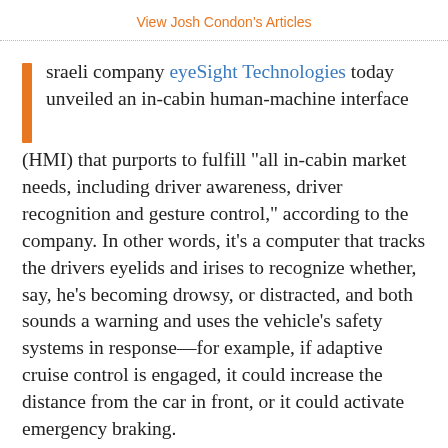View Josh Condon's Articles
Israeli company eyeSight Technologies today unveiled an in-cabin human-machine interface (HMI) that purports to fulfill "all in-cabin market needs, including driver awareness, driver recognition and gesture control," according to the company. In other words, it's a computer that tracks the drivers eyelids and irises to recognize whether, say, he's becoming drowsy, or distracted, and both sounds a warning and uses the vehicle's safety systems in response—for example, if adaptive cruise control is engaged, it could increase the distance from the car in front, or it could activate emergency braking.
"Merely sitting in the driver's seat will prompt the car to...